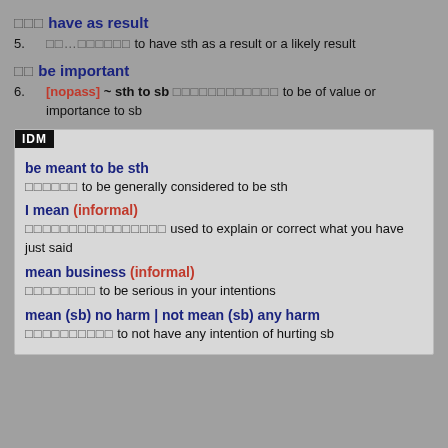□□□ have as result
5. □□...□□□□□□ to have sth as a result or a likely result
□□ be important
6. [nopass] ~ sth to sb □□□□□□□□□□□□ to be of value or importance to sb
IDM
be meant to be sth
□□□□□□ to be generally considered to be sth
I mean (informal)
□□□□□□□□□□□□□□□□ used to explain or correct what you have just said
mean business (informal)
□□□□□□□□ to be serious in your intentions
mean (sb) no harm | not mean (sb) any harm
□□□□□□□□□□ to not have any intention of hurting sb